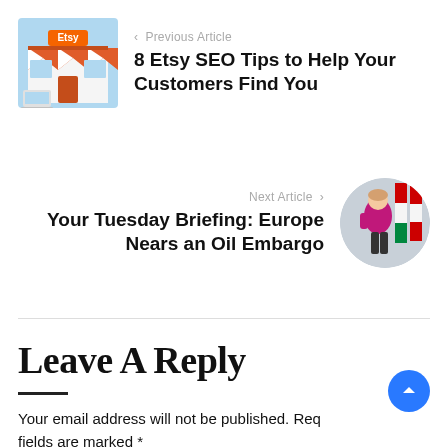[Figure (illustration): Circular illustration of an Etsy shop storefront with laptop and awning]
‹ Previous Article
8 Etsy SEO Tips to Help Your Customers Find You
Next Article ›
Your Tuesday Briefing: Europe Nears an Oil Embargo
[Figure (photo): Circular photo of a woman in magenta jacket walking past flags]
Leave A Reply
Your email address will not be published. Required fields are marked *